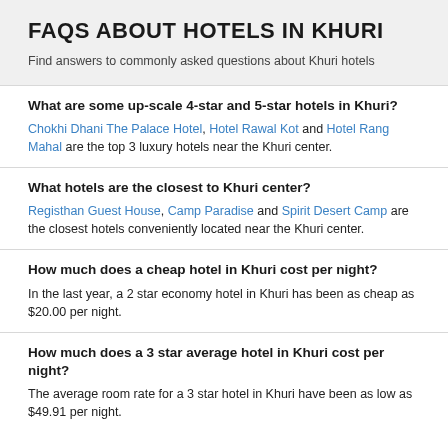FAQS ABOUT HOTELS IN KHURI
Find answers to commonly asked questions about Khuri hotels
What are some up-scale 4-star and 5-star hotels in Khuri?
Chokhi Dhani The Palace Hotel, Hotel Rawal Kot and Hotel Rang Mahal are the top 3 luxury hotels near the Khuri center.
What hotels are the closest to Khuri center?
Registhan Guest House, Camp Paradise and Spirit Desert Camp are the closest hotels conveniently located near the Khuri center.
How much does a cheap hotel in Khuri cost per night?
In the last year, a 2 star economy hotel in Khuri has been as cheap as $20.00 per night.
How much does a 3 star average hotel in Khuri cost per night?
The average room rate for a 3 star hotel in Khuri have been as low as $49.91 per night.